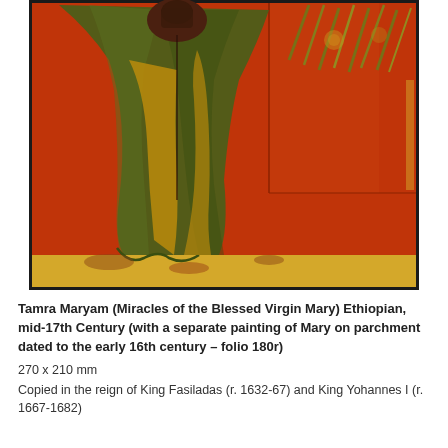[Figure (illustration): Ethiopian manuscript painting (folio 180r) showing a figure in dark garments holding a child, draped in a large green cloak, standing against a vivid red-orange background with stylized foliage on the right. The bottom border is gold/yellow. The image is framed with a black border.]
Tamra Maryam (Miracles of the Blessed Virgin Mary) Ethiopian, mid-17th Century (with a separate painting of Mary on parchment dated to the early 16th century – folio 180r)
270 x 210 mm
Copied in the reign of King Fasiladas (r. 1632-67) and King Yohannes I (r. 1667-1682)